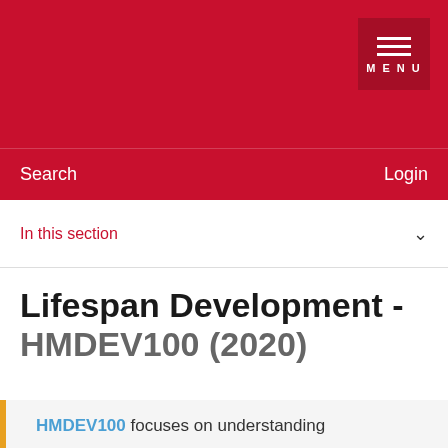[Figure (screenshot): University website header with red background and hamburger menu button labeled MENU]
Search   Login
In this section
Lifespan Development - HMDEV100 (2020)
HMDEV100 focuses on understanding